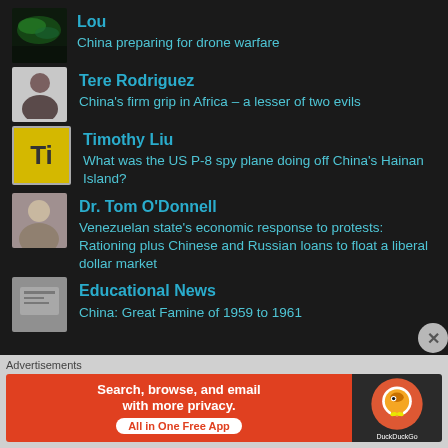Lou — China preparing for drone warfare
Tere Rodriguez — China's firm grip in Africa – a lesser of two evils
Timothy Liu — What was the US P-8 spy plane doing off China's Hainan Island?
Dr. Tom O'Donnell — Venezuelan state's economic response to protests: Rationing plus Chinese and Russian loans to float a liberal dollar market
Educational News — China: Great Famine of 1959 to 1961
Advertisements
[Figure (screenshot): DuckDuckGo advertisement banner: Search, browse, and email with more privacy. All in One Free App]